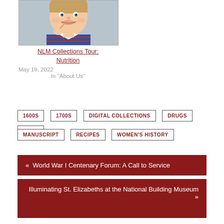[Figure (photo): Portrait photo of a smiling young boy holding something, wearing a striped shirt with white collar]
NLM Collections Tour: Nutrition
May 19, 2022
In "About Us"
1600S
1700S
DIGITAL COLLECTIONS
DRUGS
FOOD
MANUSCRIPT
RECIPES
WOMEN'S HISTORY
« World War I Centenary Forum: A Call to Service
Illuminating St. Elizabeths at the National Building Museum »